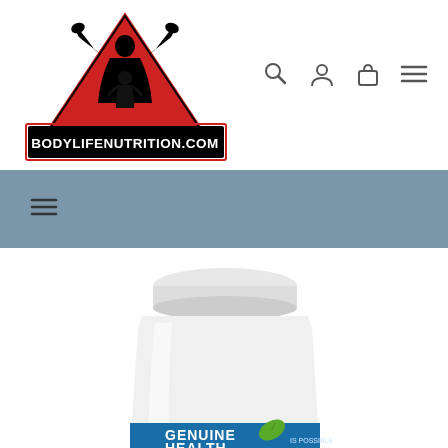[Figure (logo): BodyLifeNutrition.com logo — red triangle with silhouette of muscular man and woman, bold text BODYLIFENUTRITION.COM below]
[Figure (screenshot): Navigation icons: search magnifying glass, user profile icon, shopping bag icon, and hamburger menu icon]
[Figure (screenshot): Blue-grey navigation bar with hamburger menu icon on the left]
[Figure (photo): Supplement product bottle — white plastic jar with blue label reading GENUINE HEALTH IS POSSIBLE, shown from the top half, cropped]